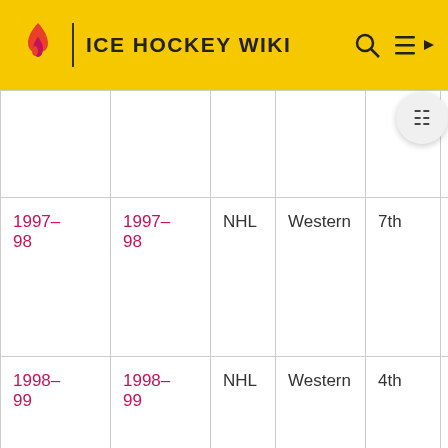ICE HOCKEY WIKI
| Season | Season | League | Conference | Finish | Playoffs |
| --- | --- | --- | --- | --- | --- |
|  |  |  |  |  |  |
| 1997-98 | 1997-98 | NHL | Western | 7th |  |
| 1998-99 | 1998-99 | NHL | Western | 4th | Pa... |
| 1999-00 | 1999-00 | NHL | Western | 6th | Pa... |